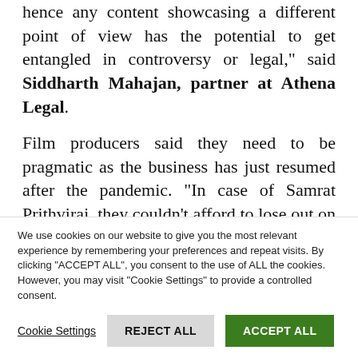hence any content showcasing a different point of view has the potential to get entangled in controversy or legal," said Siddharth Mahajan, partner at Athena Legal. Film producers said they need to be pragmatic as the business has just resumed after the pandemic. "In case of Samrat Prithviraj, they couldn't afford to lose out on Rajasthan, where the Karni Sena had demanded a change in title," said a producer.
We use cookies on our website to give you the most relevant experience by remembering your preferences and repeat visits. By clicking "ACCEPT ALL", you consent to the use of ALL the cookies. However, you may visit "Cookie Settings" to provide a controlled consent.